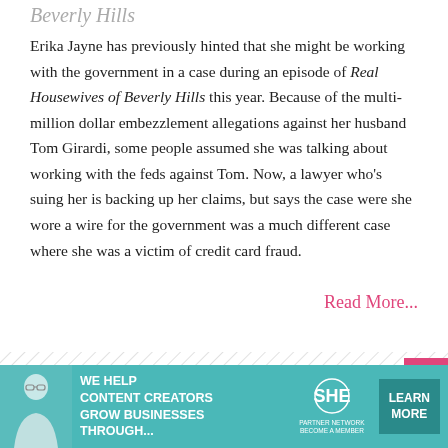Beverly Hills
Erika Jayne has previously hinted that she might be working with the government in a case during an episode of Real Housewives of Beverly Hills this year. Because of the multi-million dollar embezzlement allegations against her husband Tom Girardi, some people assumed she was talking about working with the feds against Tom. Now, a lawyer who's suing her is backing up her claims, but says the case were she wore a wire for the government was a much different case where she was a victim of credit card fraud.
Read More...
[Figure (other): Diagonal hatch divider line]
[Figure (other): Advertisement banner: SHE Media Partner Network - We help content creators grow businesses through... Learn More]